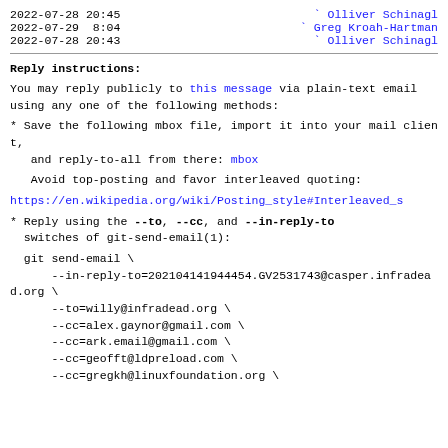| Date | Name |
| --- | --- |
| 2022-07-28 20:45 | ` Olliver Schinagl |
| 2022-07-29  8:04 | ` Greg Kroah-Hartman |
| 2022-07-28 20:43 | ` Olliver Schinagl |
Reply instructions:
You may reply publicly to this message via plain-text email
using any one of the following methods:
* Save the following mbox file, import it into your mail client,
   and reply-to-all from there: mbox
Avoid top-posting and favor interleaved quoting:
https://en.wikipedia.org/wiki/Posting_style#Interleaved_s
* Reply using the --to, --cc, and --in-reply-to
  switches of git-send-email(1):
git send-email \
    --in-reply-to=202104141944454.GV2531743@casper.infradead.org \
    --to=willy@infradead.org \
    --cc=alex.gaynor@gmail.com \
    --cc=ark.email@gmail.com \
    --cc=geofft@ldpreload.com \
    --cc=gregkh@linuxfoundation.org \